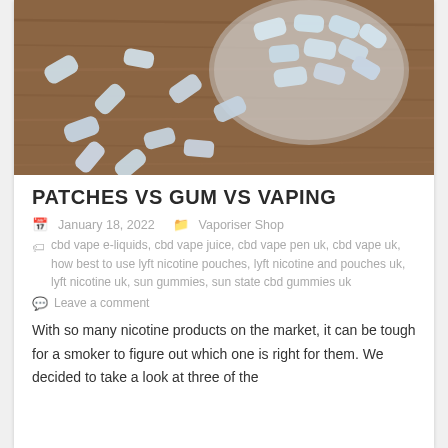[Figure (photo): Nicotine pouches/snus sachets scattered on a wooden table, with several inside a round bowl, all light blue/white colored]
PATCHES VS GUM VS VAPING
January 18, 2022   Vaporiser Shop
cbd vape e-liquids, cbd vape juice, cbd vape pen uk, cbd vape uk, how best to use lyft nicotine pouches, lyft nicotine and pouches uk, lyft nicotine uk, sun gummies, sun state cbd gummies uk
Leave a comment
With so many nicotine products on the market, it can be tough for a smoker to figure out which one is right for them. We decided to take a look at three of the